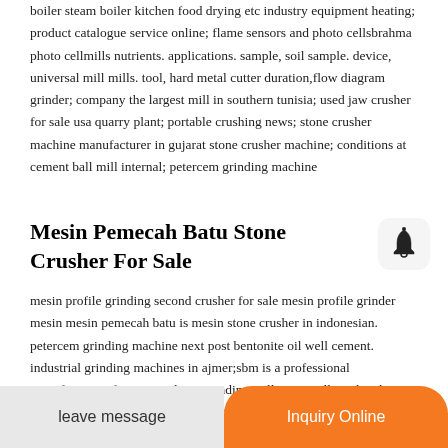boiler steam boiler kitchen food drying etc industry equipment heating; product catalogue service online; flame sensors and photo cellsbrahma photo cellmills nutrients. applications. sample, soil sample. device, universal mill mills. tool, hard metal cutter duration,flow diagram grinder; company the largest mill in southern tunisia; used jaw crusher for sale usa quarry plant; portable crushing news; stone crusher machine manufacturer in gujarat stone crusher machine; conditions at cement ball mill internal; petercem grinding machine
Mesin Pemecah Batu Stone Crusher For Sale
mesin profile grinding second crusher for sale mesin profile grinder mesin mesin pemecah batu is mesin stone crusher in indonesian. petercem grinding machine next post bentonite oil well cement. industrial grinding machines in ajmer;sbm is a professional manufacturer of stone crushers, grinding mills, jaw mill sand making machines, milling machines and mining equipment. machinery (crusher,sand making equipment,ore dressing equipment n. domestic market china powder making machine equipment; china crusher grinding ma...